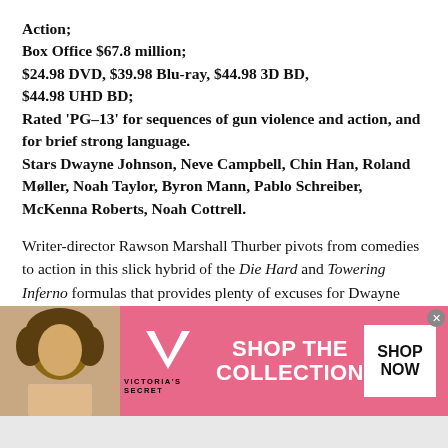Action; Box Office $67.8 million; $24.98 DVD, $39.98 Blu-ray, $44.98 3D BD, $44.98 UHD BD; Rated 'PG-13' for sequences of gun violence and action, and for brief strong language. Stars Dwayne Johnson, Neve Campbell, Chin Han, Roland Møller, Noah Taylor, Byron Mann, Pablo Schreiber, McKenna Roberts, Noah Cottrell.
Writer-director Rawson Marshall Thurber pivots from comedies to action in this slick hybrid of the Die Hard and Towering Inferno formulas that provides plenty of excuses for Dwayne Johnson to run around and beat people up.
[Figure (infographic): Victoria's Secret advertisement banner with a model photo on the left, VS logo and brand name in center, 'SHOP THE COLLECTION' text, and a 'SHOP NOW' button on the right, pink background.]